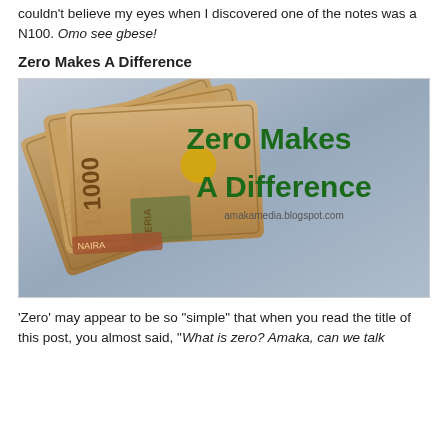couldn't believe my eyes when I discovered one of the notes was a N100. Omo see gbese!
Zero Makes A Difference
[Figure (photo): Photo of a bundle of Nigerian 1000-naira notes with text overlay reading 'Zero Makes A Difference' and watermark 'amakamedia.blogspot.com']
'Zero' may appear to be so "simple" that when you read the title of this post, you almost said, "What is zero? Amaka, can we talk